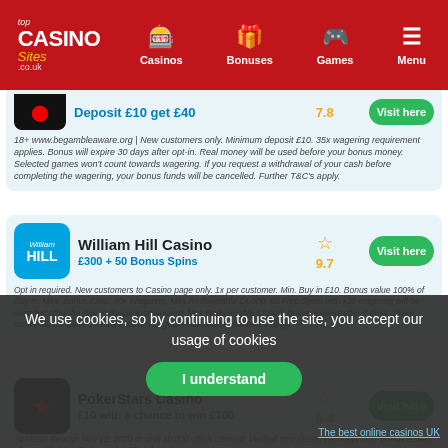Top Casino Sites - Casinos, Bonuses, Games, Menu
Deposit £10 get £40 | 7.8 | Visit here
18+ www.begambleaware.org | New customers only. Minimum deposit £10. 35x wagering requirement applies. Bonus will expire 30 days after opt-in. Real money will be used before your bonus money. Selected games won't count towards wagering. If you request a withdrawal of your cash before completing the wagering, your bonus funds will be cancelled. Further T&C's apply.
William Hill Casino | £300 + 50 Bonus Spins | 9.7 | Visit here
Opt in required. New customers to Casino page only. 1x per customer. Min. Buy in £10. Bonus value 100% of Buy in. Max. Bonus £300. 40x Wagering, Max Redeemable £4,000. 50 Free Spins with x35 wagering will be awarded after the Buy in Bonus is completed. Max Redeemable £1,000. Bonus expires after 7 days. Stake contributions, player, country, currency, game restrictions and terms apply.
PokerStars Casino | £10 with a chance to win £100 | 8.4 | Visit here
Available through Nov 12, 2020 or until 10,000 offers claimed. Verified new casino accounts only. Bonus issued after verification. 7 day expiry. 50 redemption points needed...
We use cookies, so by continuing to use the site, you accept our usage of cookies
I understand
The best online casinos UK